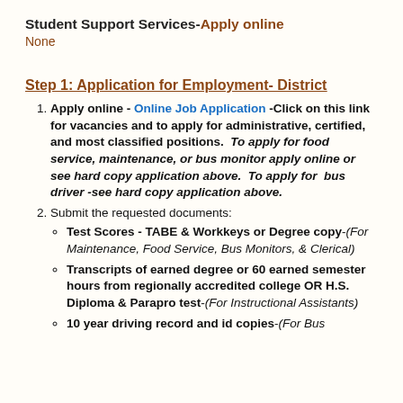Student Support Services-Apply online
None
Step 1: Application for Employment- District
Apply online - Online Job Application -Click on this link for vacancies and to apply for administrative, certified, and most classified positions.  To apply for food service, maintenance, or bus monitor apply online or see hard copy application above.  To apply for  bus driver -see hard copy application above.
Submit the requested documents:
Test Scores - TABE & Workkeys or Degree copy-(For Maintenance, Food Service, Bus Monitors, & Clerical)
Transcripts of earned degree or 60 earned semester hours from regionally accredited college OR H.S. Diploma & Parapro test-(For Instructional Assistants)
10 year driving record and id copies-(For Bus...